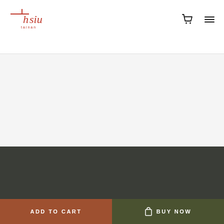[Figure (logo): Hsiu Tainan brand logo in red brush-stroke style]
█████
████
█████
███████
█████████
ADD TO CART
BUY NOW